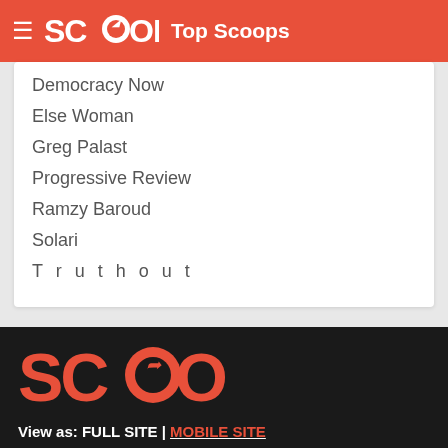SCOOP Top Scoops
Democracy Now
Else Woman
Greg Palast
Progressive Review
Ramzy Baroud
Solari
Truthout
[Figure (logo): Large SCOOP logo in orange on dark background]
View as: FULL SITE | MOBILE SITE
SCOOP
Contact